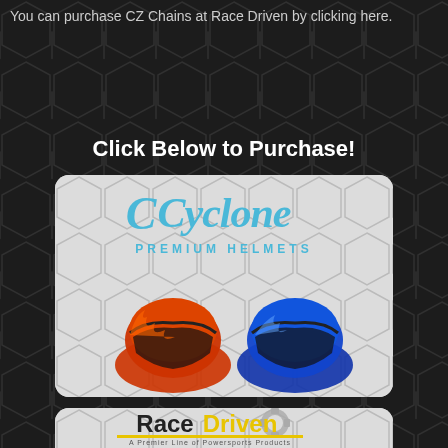You can purchase CZ Chains at Race Driven by clicking here.
Click Below to Purchase!
[Figure (illustration): Cyclone Premium Helmets advertisement card showing two motocross helmets — one orange/red and one blue/black — on a honeycomb background with the Cyclone Premium Helmets logo in blue script at top]
[Figure (illustration): Race Driven — A Premier Line of Powersports Products advertisement card showing the RaceDriven logo with sprocket imagery and powersports products on a honeycomb background]